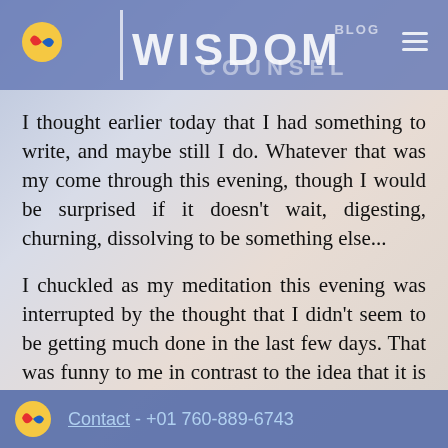WISDOM BLOG COUNSEL
I thought earlier today that I had something to write, and maybe still I do. Whatever that was my come through this evening, though I would be surprised if it doesn't wait, digesting, churning, dissolving to be something else...
I chuckled as my meditation this evening was interrupted by the thought that I didn't seem to be getting much done in the last few days. That was funny to me in contrast to the idea that it is Christmas Eve. What now needs to be done?
The answer...
Contact - +01 760-889-6743